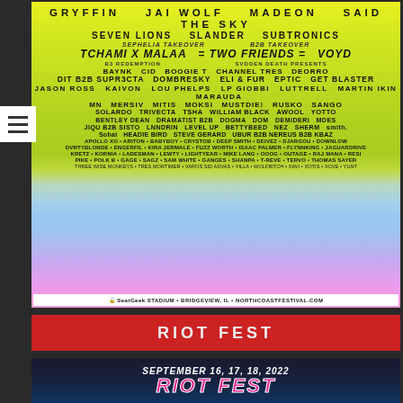[Figure (photo): North Coast Music Festival lineup poster with yellow-to-rainbow gradient background. Artists listed include Gryffin, Jai Wolf, Madeon, Said the Sky, Seven Lions, Slander, Subtronics, Tchami x Malaa, Two Friends, VOYD, Baynk, CID, Boogie T, Channel Tres, Deorro, and many more. Bottom shows SeatGeek Stadium, Bridgeview IL, northcoastfestival.com.]
RIOT FEST
[Figure (photo): Riot Fest 2022 promotional poster showing September 16, 17, 18, 2022 with colorful illustrated characters and the Riot Fest logo in pink letters.]